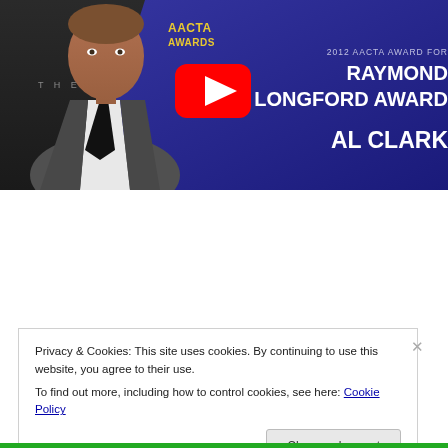[Figure (screenshot): YouTube video thumbnail showing a man in a suit and tie on the left (photo), and a blue AACTA awards panel on the right reading '2012 AACTA AWARD FOR RAYMOND LONGFORD AWARD AL CLARK', with a YouTube play button overlay.]
Privacy & Cookies: This site uses cookies. By continuing to use this website, you agree to their use.
To find out more, including how to control cookies, see here: Cookie Policy
Close and accept